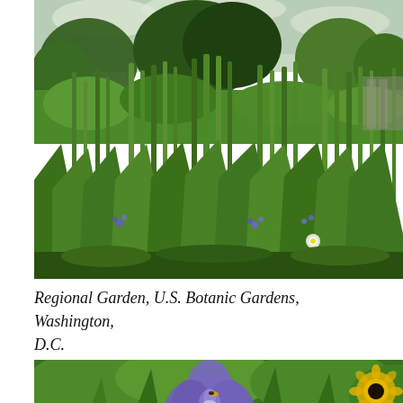[Figure (photo): Photograph of a lush garden with tall green iris and cattail plants in the foreground, dense green shrubs and trees in the background, with blue/purple grape hyacinth flowers and a single white flower visible. Overcast sky visible at the top. Regional Garden at U.S. Botanic Gardens, Washington, D.C.]
Regional Garden, U.S. Botanic Gardens, Washington, D.C.
[Figure (photo): Close-up photograph of a blue-purple iris flower in the foreground with green leaves and yellow flowers (black-eyed susans) visible in the background, shallow depth of field.]